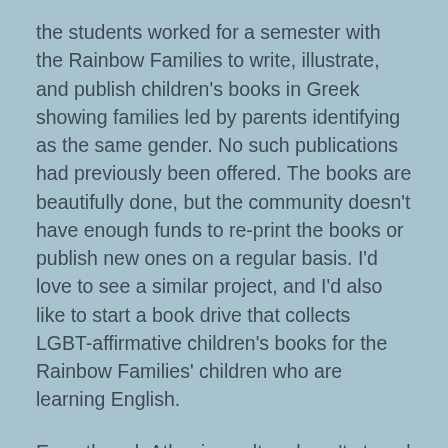the students worked for a semester with the Rainbow Families to write, illustrate, and publish children's books in Greek showing families led by parents identifying as the same gender. No such publications had previously been offered. The books are beautifully done, but the community doesn't have enough funds to re-print the books or publish new ones on a regular basis. I'd love to see a similar project, and I'd also like to start a book drive that collects LGBT-affirmative children's books for the Rainbow Families' children who are learning English.
Even though Athenian culture hasn't stayed true to its ancient roots of accepting non-heteronormative identities, there is a small population of outspoken queer activists. Clearly, the Hellas underground is not only a place of history but on a metaphorical level, the underground is also where and how the cool people